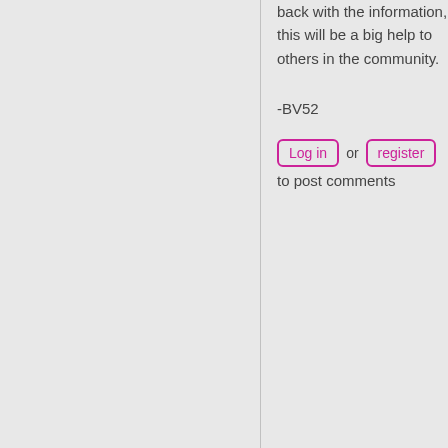back with the information, this will be a big help to others in the community.
-BV52
Log in or register to post comments
jorryt
Mon, 12/04/2017 - 11:43
permalink
No registering of the sound in Moodle
I have a problem to register the spoken sound in any exercise